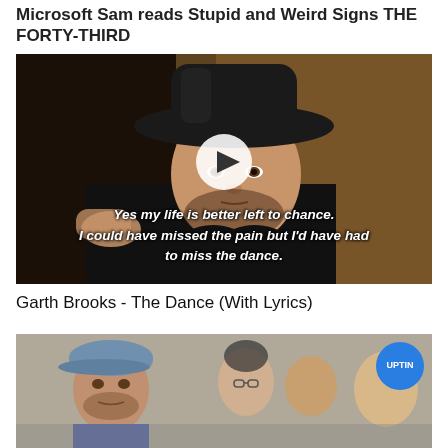Microsoft Sam reads Stupid and Weird Signs THE FORTY-THIRD
[Figure (screenshot): Video thumbnail showing a man in a black cowboy hat against a dark background with a white play button circle overlay, and italic white bold text at bottom reading: Yes my life is better left to chance. I could have missed the pain but I'd have had to miss the dance.]
Garth Brooks - The Dance (With Lyrics)
[Figure (screenshot): Video thumbnail showing a young man with a cap on the left and a group of people on the right, with an UPTIN badge (blue circle) in the top right corner.]